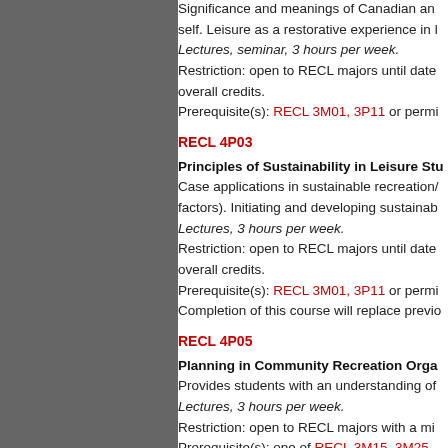Significance and meanings of Canadian and self. Leisure as a restorative experience in l Lectures, seminar, 3 hours per week. Restriction: open to RECL majors until date overall credits. Prerequisite(s): RECL 3M01, 3P11 or permi
RECL 4P03
Principles of Sustainability in Leisure Stu
Case applications in sustainable recreation/ factors). Initiating and developing sustainab Lectures, 3 hours per week. Restriction: open to RECL majors until date overall credits. Prerequisite(s): RECL 3M01, 3P11 or permi Completion of this course will replace previo
RECL 4P05
Planning in Community Recreation Orga
Provides students with an understanding of Lectures, 3 hours per week. Restriction: open to RECL majors with a mi Prerequisite(s): one of RECL 3M15, 3M25,